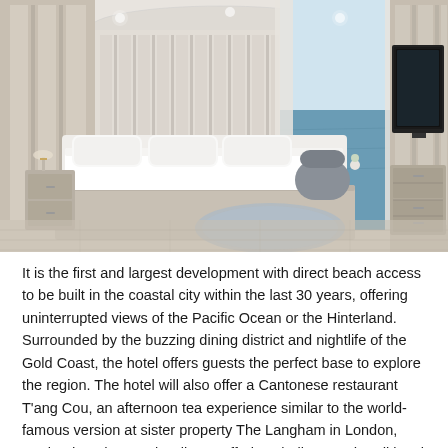[Figure (photo): Luxury hotel room interior with a large white bed, neutral wood-paneled walls, floor-to-ceiling windows overlooking an ocean view, a flat-screen TV on the right wall, and a round blue area rug on light hardwood floors.]
It is the first and largest development with direct beach access to be built in the coastal city within the last 30 years, offering uninterrupted views of the Pacific Ocean or the Hinterland. Surrounded by the buzzing dining district and nightlife of the Gold Coast, the hotel offers guests the perfect base to explore the region. The hotel will also offer a Cantonese restaurant T'ang Cou, an afternoon tea experience similar to the world-famous version at sister property The Langham in London, England, and several wellness offerings built around traditional Chinese